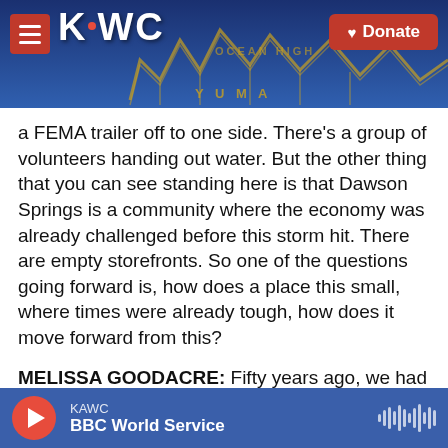KAWC | Donate
a FEMA trailer off to one side. There's a group of volunteers handing out water. But the other thing that you can see standing here is that Dawson Springs is a community where the economy was already challenged before this storm hit. There are empty storefronts. So one of the questions going forward is, how does a place this small, where times were already tough, how does it move forward from this?
MELISSA GOODACRE: Fifty years ago, we had stores all over the place. It's - slowly after the factory left us, people kind of moved away, and
KAWC | BBC World Service